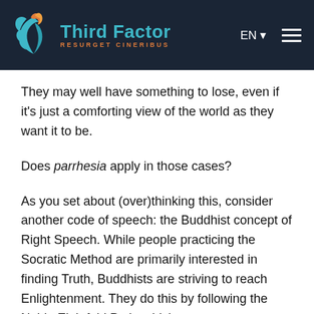Third Factor — RESURGET CINERIBUS
They may well have something to lose, even if it's just a comforting view of the world as they want it to be.
Does parrhesia apply in those cases?
As you set about (over)thinking this, consider another code of speech: the Buddhist concept of Right Speech. While people practicing the Socratic Method are primarily interested in finding Truth, Buddhists are striving to reach Enlightenment. They do this by following the Noble Eightfold Path, which